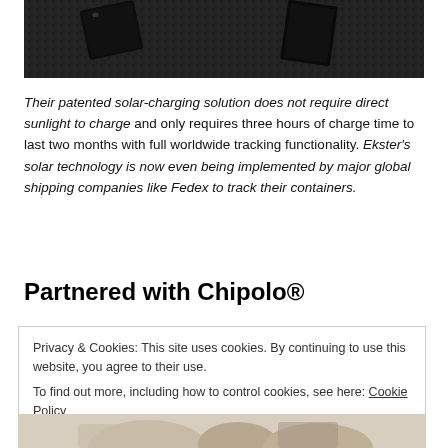[Figure (photo): Dark background with black electronic tracker devices on gravel/dark surface, partial crop at top of page]
Their patented solar-charging solution does not require direct sunlight to charge and only requires three hours of charge time to last two months with full worldwide tracking functionality. Ekster's solar technology is now even being implemented by major global shipping companies like Fedex to track their containers.
Partnered with Chipolo®
Privacy & Cookies: This site uses cookies. By continuing to use this website, you agree to their use.
To find out more, including how to control cookies, see here: Cookie Policy
Close and accept
[Figure (photo): Partial image at bottom of page showing hands, partially cropped]